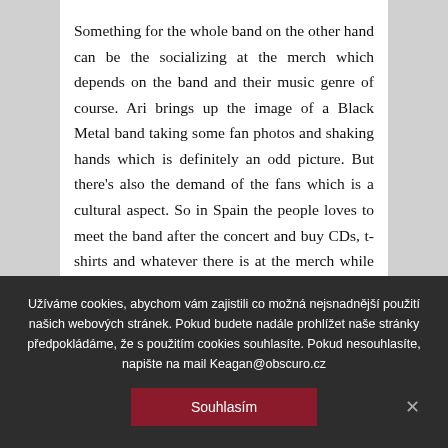Something for the whole band on the other hand can be the socializing at the merch which depends on the band and their music genre of course. Ari brings up the image of a Black Metal band taking some fan photos and shaking hands which is definitely an odd picture. But there's also the demand of the fans which is a cultural aspect. So in Spain the people loves to meet the band after the concert and buy CDs, t-shirts and whatever there is at the merch while in Finland it isn't such a big...
Užíváme cookies, abychom vám zajistili co možná nejsnadnější použití našich webových stránek. Pokud budete nadále prohlížet naše stránky předpokládáme, že s použitím cookies souhlasíte. Pokud nesouhlasíte, napište na mail Keagan@obscuro.cz
Souhlasím